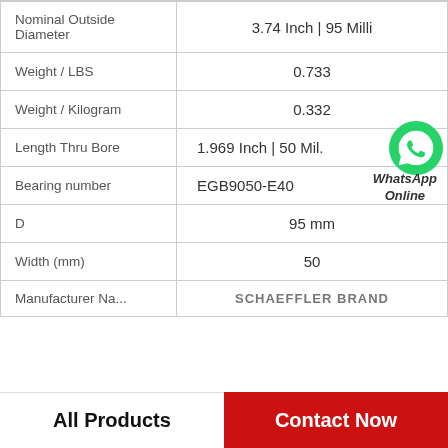| Property | Value |
| --- | --- |
| Nominal Outside Diameter | 3.74 Inch | 95 Milli |
| Weight / LBS | 0.733 |
| Weight / Kilogram | 0.332 |
| Length Thru Bore | 1.969 Inch | 50 Mil. |
| Bearing number | EGB9050-E40 |
| D | 95 mm |
| Width (mm) | 50 |
| Manufacturer Name | SCHAEFFLER BRAND |
All Products   Contact Now